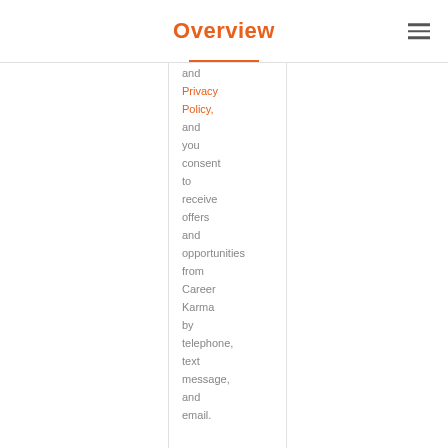Overview
and Privacy Policy, and you consent to receive offers and opportunities from Career Karma by telephone, text message, and email.